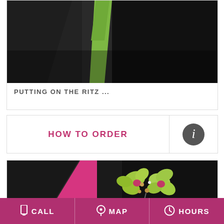[Figure (photo): Close-up of a black suit jacket lapel with a green tie, showing a corsage or boutonniere detail. Dark background with partial red/pink element visible.]
PUTTING ON THE RITZ ...
HOW TO ORDER
[Figure (photo): Close-up of a black suit lapel with a pink/hot-pink tie and a green cymbidium orchid boutonniere with pearl and bead accents pinned to the lapel.]
CALL   MAP   HOURS